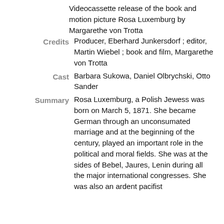Videocassette release of the book and motion picture Rosa Luxemburg by Margarethe von Trotta
Credits
Producer, Eberhard Junkersdorf ; editor, Martin Wiebel ; book and film, Margarethe von Trotta
Cast
Barbara Sukowa, Daniel Olbrychski, Otto Sander
Summary
Rosa Luxemburg, a Polish Jewess was born on March 5, 1871. She became German through an unconsumated marriage and at the beginning of the century, played an important role in the political and moral fields. She was at the sides of Bebel, Jaures, Lenin during all the major international congresses. She was also an ardent pacifist